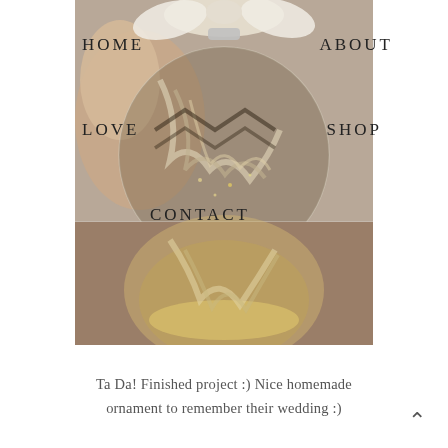[Figure (photo): Two-part photo of a clear glass Christmas ornament ball filled with ribbon and glitter, topped with a white satin bow, held by a hand against a carpet background. The top half shows the ornament with a navigation menu overlay, the bottom half shows the ornament resting on a carpet.]
Ta Da! Finished project :) Nice homemade ornament to remember their wedding :)